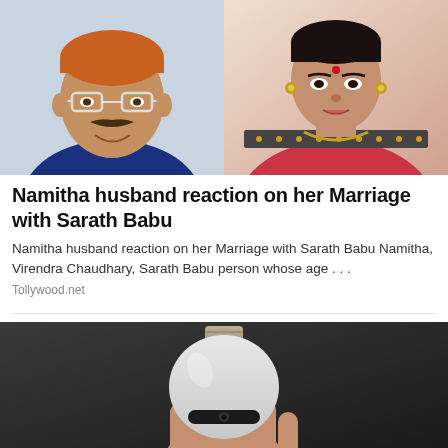[Figure (photo): Two photos side by side: left shows a middle-aged man with glasses, moustache, orange-tinted hair wearing a blue blazer; right shows a woman in a red/pink embroidered saree with gold jewellery]
Namitha husband reaction on her Marriage with Sarath Babu
Namitha husband reaction on her Marriage with Sarath Babu Namitha, Virendra Chaudhary, Sarath Babu person whose age . . .
Tollywood.net
[Figure (photo): A hand holding a white smart light bulb camera device against a dark background]